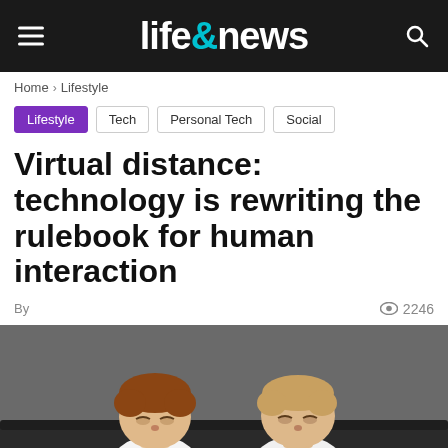life&news
Home > Lifestyle
Lifestyle | Tech | Personal Tech | Social
Virtual distance: technology is rewriting the rulebook for human interaction
By [author] 2246 views
[Figure (photo): Two toddlers/babies sitting side by side on a dark couch, each looking down at a black smartphone, wearing white onesies/shirts, on a dark grey background.]